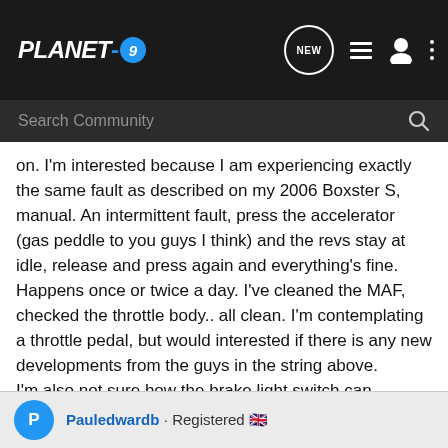PLANET-9 navigation bar with logo and icons
Search Community
on. I'm interested because I am experiencing exactly the same fault as described on my 2006 Boxster S, manual. An intermittent fault, press the accelerator (gas peddle to you guys I think) and the revs stay at idle, release and press again and everything's fine. Happens once or twice a day. I've cleaned the MAF, checked the throttle body.. all clean. I'm contemplating a throttle pedal, but would interested if there is any new developments from the guys in the string above.
I'm also not sure how the brake light switch can influence this, maybe someone can explain the link.
Thanks all
Pauledwardb · Registered 🇬🇧